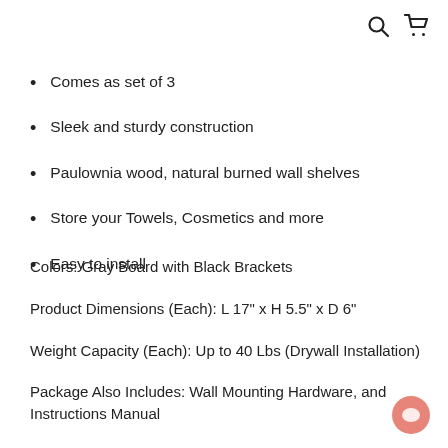Search and Cart icons
Comes as set of 3
Sleek and sturdy construction
Paulownia wood, natural burned wall shelves
Store your Towels, Cosmetics and more
Easy to install
Colors: Gray Board with Black Brackets
Product Dimensions (Each): L 17" x H 5.5" x D 6"
Weight Capacity (Each): Up to 40 Lbs (Drywall Installation)
Package Also Includes: Wall Mounting Hardware, and Instructions Manual